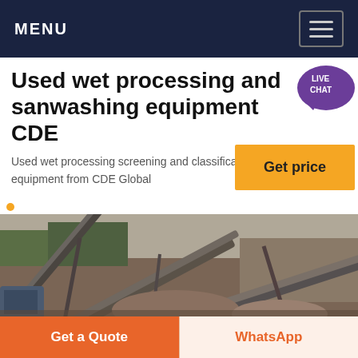MENU
Used wet processing and sand washing equipment CDE
Used wet processing screening and classification equipment from CDE Global
[Figure (screenshot): Yellow 'Get price' button overlay]
[Figure (photo): Industrial sand washing and wet processing equipment with conveyor belts at a quarry or mining site]
Get a Quote
WhatsApp